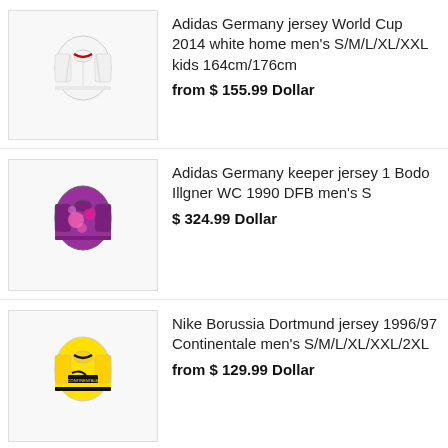[Figure (photo): Adidas Germany white home jersey thumbnail]
Adidas Germany jersey World Cup 2014 white home men's S/M/L/XL/XXL kids 164cm/176cm
from $ 155.99 Dollar
[Figure (photo): Adidas Germany keeper jersey purple/pink thumbnail]
Adidas Germany keeper jersey 1 Bodo Illgner WC 1990 DFB men's S
$ 324.99 Dollar
[Figure (photo): Nike Borussia Dortmund yellow jersey 1996/97 thumbnail]
Nike Borussia Dortmund jersey 1996/97 Continentale men's S/M/L/XL/XXL/2XL
from $ 129.99 Dollar
[Figure (photo): Kappa SV Werder Bremen green/orange away jersey thumbnail]
Kappa SV Werder Bremen jersey 2006/07 we win 10 Diego 11 Klose away men's L
from $ 181.99 Dollar
[Figure (photo): Nike Borussia Dortmund yellow jersey 1995/96 thumbnail]
Nike Borussia Dortmund jersey 1995/96 8 Zorc 9 Chapuisat 13 Riedle Continentale BVB men's M
from $ 181.99 Dollar
[Figure (photo): Adidas Football Association of Yugoslavia jersey thumbnail]
Adidas Football Association of Yugoslavia